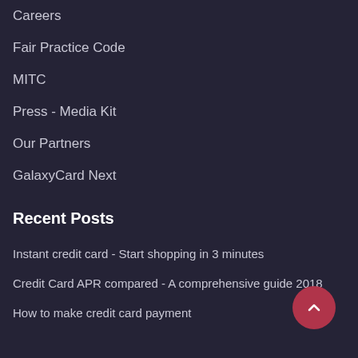Careers
Fair Practice Code
MITC
Press - Media Kit
Our Partners
GalaxyCard Next
Recent Posts
Instant credit card - Start shopping in 3 minutes
Credit Card APR compared - A comprehensive guide 2018
How to make credit card payment